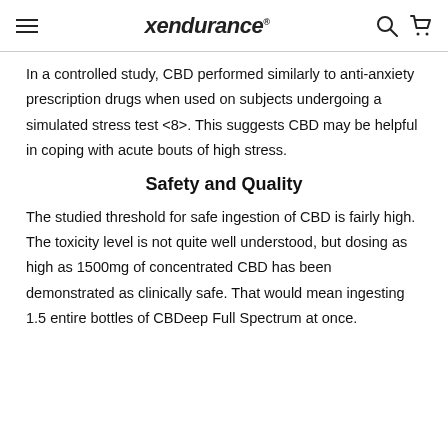xendurance
In a controlled study, CBD performed similarly to anti-anxiety prescription drugs when used on subjects undergoing a simulated stress test <8>. This suggests CBD may be helpful in coping with acute bouts of high stress.
Safety and Quality
The studied threshold for safe ingestion of CBD is fairly high. The toxicity level is not quite well understood, but dosing as high as 1500mg of concentrated CBD has been demonstrated as clinically safe. That would mean ingesting 1.5 entire bottles of CBDeep Full Spectrum at once.